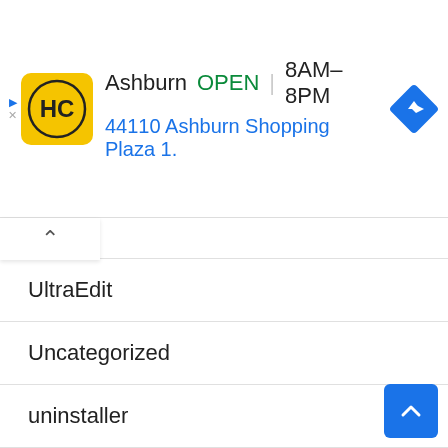[Figure (screenshot): Advertisement banner for Haircut place in Ashburn showing logo, OPEN status, hours 8AM-8PM, address 44110 Ashburn Shopping Plaza 1., and navigation icon]
UltraEdit
Uncategorized
uninstaller
Utilitie
Utilities
Utility
Video Converter